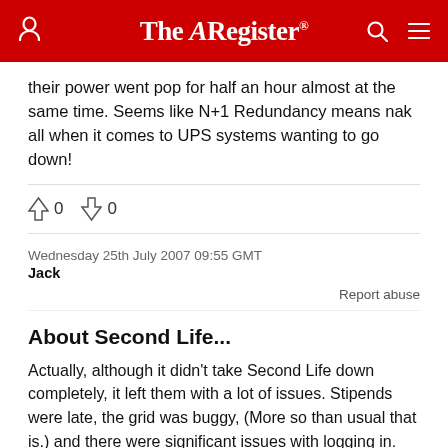The Register
their power went pop for half an hour almost at the same time. Seems like N+1 Redundancy means nak all when it comes to UPS systems wanting to go down!
↑0  ↓0
Wednesday 25th July 2007 09:55 GMT
Jack
Report abuse
About Second Life...
Actually, although it didn't take Second Life down completely, it left them with a lot of issues. Stipends were late, the grid was buggy, (More so than usual that is.) and there were significant issues with logging in.
I suspect that the reason they weren't down completely is because they have several facilities that aren't located in San Francisco.